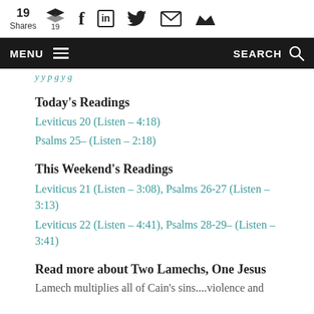19 Shares | Social share icons (Buffer 19, Facebook, LinkedIn, Twitter, Email, Crown)
MENU | SEARCH
(partial link text, partially visible)
Today's Readings
Leviticus 20 (Listen – 4:18)
Psalms 25– (Listen – 2:18)
This Weekend's Readings
Leviticus 21 (Listen – 3:08), Psalms 26-27 (Listen – 3:13)
Leviticus 22 (Listen – 4:41), Psalms 28-29– (Listen – 3:41)
Read more about Two Lamechs, One Jesus
Lamech multiplies all of Cain's sins....violence and